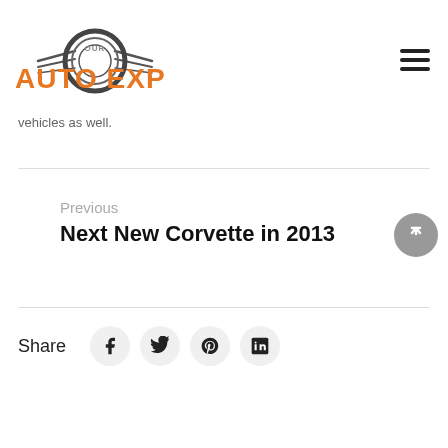[Figure (logo): Our Auto Expert logo — stylized tire/wing graphic with orange text AUTO EXPERT and grey OUR above]
vehicles as well.
Previous
Next New Corvette in 2013
Share